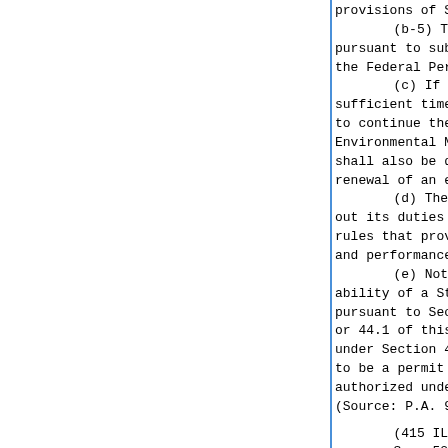provisions of Section 31 or 42 of (b-5) The Agency may te pursuant to subsection (d) of Sec the Federal Performance Track Pro (c) If the Agreement is term sufficient time to apply for and to continue the operations in e Environmental Management Systems shall also be deemed a timely renewal of an existing permit und (d) The Agency may adopt ru out its duties under this Section rules that provide mechanisms for and performance assurance. (e) Nothing in this Sectio ability of a State's Attorney or pursuant to Section 43(a) of thi or 44.1 of this Act, except that under Section 43(a), 44, or 44.1 to be a permit issued under thi authorized under the Agreement. (Source: P.A. 93-171, eff. 7-10-0
(415 ILCS 5/52.3-5) Sec. 52.3-5. Effect of amen Assembly. Nothing contained in t General Assembly shall remove an site, or facility operating witho authorization for activities taki date of this Act.